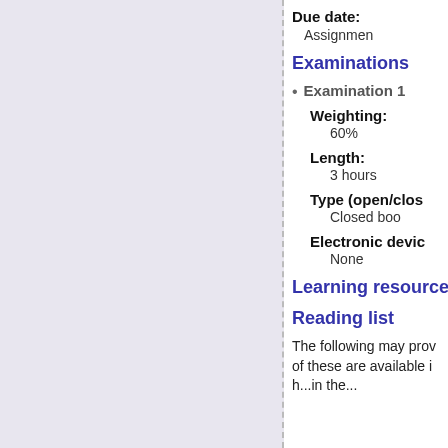Due date: Assignment
Examinations
Examination 1
Weighting: 60%
Length: 3 hours
Type (open/closed): Closed book
Electronic devices: None
Learning resources
Reading list
The following may provide useful background. Some of these are available in the...